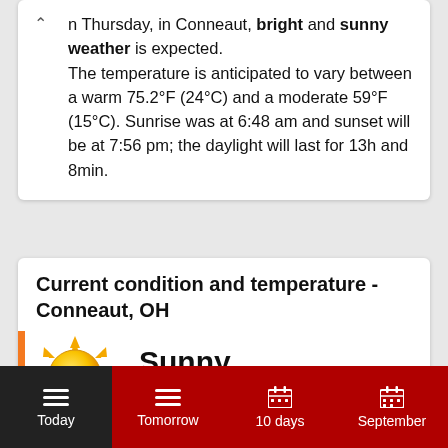n Thursday, in Conneaut, bright and sunny weather is expected. The temperature is anticipated to vary between a warm 75.2°F (24°C) and a moderate 59°F (15°C). Sunrise was at 6:48 am and sunset will be at 7:56 pm; the daylight will last for 13h and 8min.
Current condition and temperature - Conneaut, OH
[Figure (illustration): Sun weather icon - yellow stylized sun with rays, representing sunny weather]
Sunny
73°F
Today | Tomorrow | 10 days | September